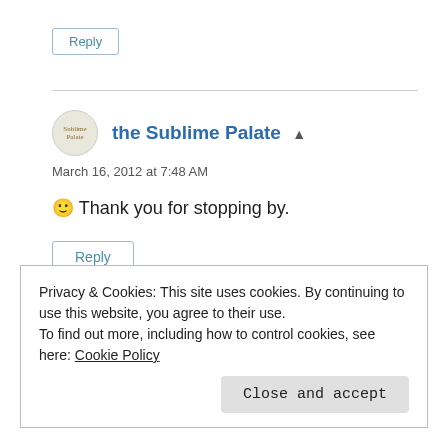Reply
the Sublime Palate
March 16, 2012 at 7:48 AM
🙂 Thank you for stopping by.
Reply
Privacy & Cookies: This site uses cookies. By continuing to use this website, you agree to their use.
To find out more, including how to control cookies, see here: Cookie Policy
Close and accept